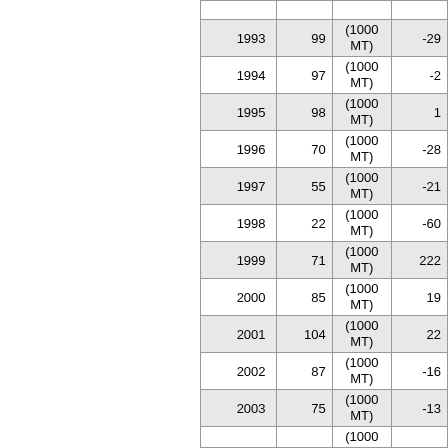| Year | Value1 | Unit | Value2 |
| --- | --- | --- | --- |
| 1993 | 99 | (1000 MT) | -29 |
| 1994 | 97 | (1000 MT) | -2 |
| 1995 | 98 | (1000 MT) | 1 |
| 1996 | 70 | (1000 MT) | -28 |
| 1997 | 55 | (1000 MT) | -21 |
| 1998 | 22 | (1000 MT) | -60 |
| 1999 | 71 | (1000 MT) | 222 |
| 2000 | 85 | (1000 MT) | 19 |
| 2001 | 104 | (1000 MT) | 22 |
| 2002 | 87 | (1000 MT) | -16 |
| 2003 | 75 | (1000 MT) | -13 |
| 2004 |  | (1000 |  |